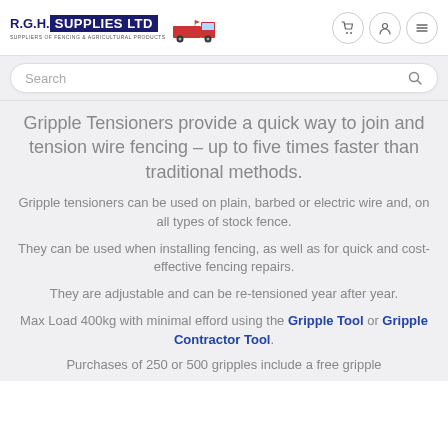[Figure (logo): R.G.H. Supplies Ltd logo with truck illustration and tagline 'Suppliers of Fencing & Agricultural Products']
Search
Gripple Tensioners provide a quick way to join and tension wire fencing – up to five times faster than traditional methods.
Gripple tensioners can be used on plain, barbed or electric wire and, on all types of stock fence.
They can be used when installing fencing, as well as for quick and cost-effective fencing repairs.
They are adjustable and can be re-tensioned year after year.
Max Load 400kg with minimal efford using the Gripple Tool or Gripple Contractor Tool.
Purchases of 250 or 500 gripples include a free gripple